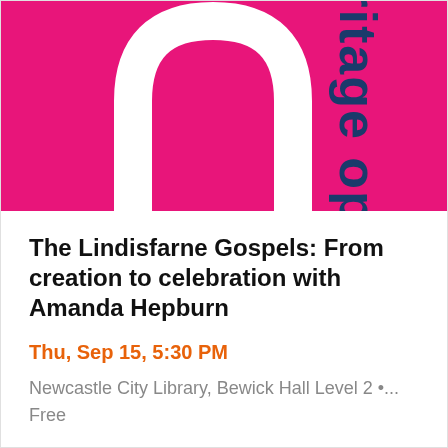[Figure (illustration): Pink/magenta banner image with a white arch shape (like a horseshoe or rounded rectangle arch) in the center, and vertical text reading 'ritage op' in dark navy blue on the right side, partially cropped. Heritage Open Days branding.]
The Lindisfarne Gospels: From creation to celebration with Amanda Hepburn
Thu, Sep 15, 5:30 PM
Newcastle City Library, Bewick Hall Level 2 •...
Free